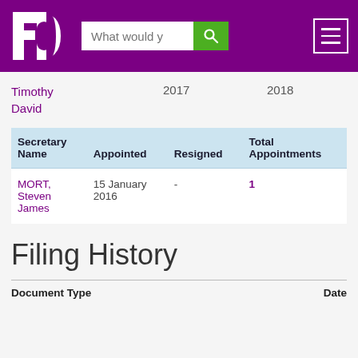[Figure (screenshot): FD website header with logo, search bar, and hamburger menu on purple background]
Timothy David	2017	2018
| Secretary Name | Appointed | Resigned | Total Appointments |
| --- | --- | --- | --- |
| MORT, Steven James | 15 January 2016 | - | 1 |
Filing History
| Document Type | Date |
| --- | --- |